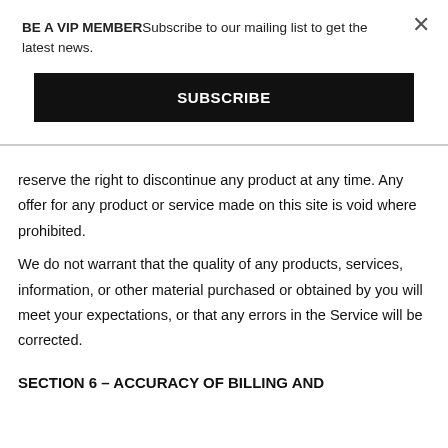BE A VIP MEMBERSubscribe to our mailing list to get the latest news.
SUBSCRIBE
reserve the right to discontinue any product at any time. Any offer for any product or service made on this site is void where prohibited.
We do not warrant that the quality of any products, services, information, or other material purchased or obtained by you will meet your expectations, or that any errors in the Service will be corrected.
SECTION 6 – ACCURACY OF BILLING AND